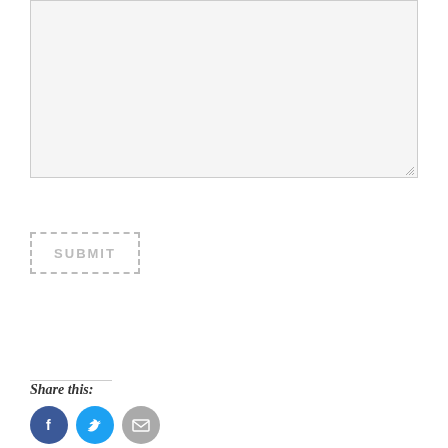[Figure (screenshot): A large empty textarea input field with a light grey background and resize handle in the bottom-right corner]
[Figure (screenshot): A Submit button with dashed border and grey text]
Share this:
[Figure (infographic): Three circular social sharing icons: Facebook (blue), Twitter (light blue), and Email (grey)]